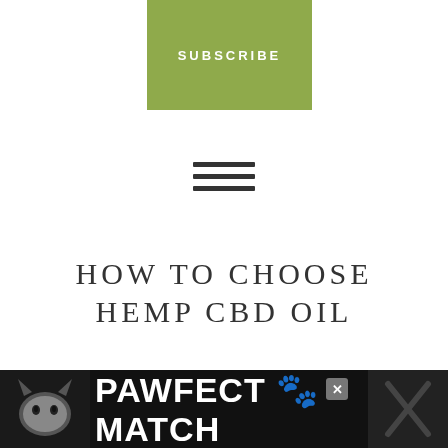[Figure (other): Green subscribe button/bar with white uppercase SUBSCRIBE text]
[Figure (other): Hamburger menu icon with three horizontal lines]
HOW TO CHOOSE HEMP CBD OIL
JANUARY 30, 2018 BY DONNA GREGORY/FEDUPWITHFATIGUE.COM | 26 COMMENTS
[Figure (other): Social media sharing icons: Facebook, Twitter, Pinterest, Email]
[Figure (other): PAWFECT MATCH advertisement banner at bottom of page with cat image and X close button]